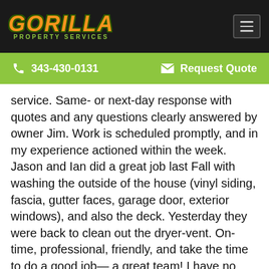[Figure (logo): Gorilla Property Services logo — orange italic bold GORILLA text with dark green outline, green PROPERTY SERVICES subtitle, on black background]
343-430-0131   Request Quote
service. Same- or next-day response with quotes and any questions clearly answered by owner Jim. Work is scheduled promptly, and in my experience actioned within the week. Jason and Ian did a great job last Fall with washing the outside of the house (vinyl siding, fascia, gutter faces, garage door, exterior windows), and also the deck. Yesterday they were back to clean out the dryer-vent. On-time, professional, friendly, and take the time to do a good job— a great team! I have no hesitation in recommending Gorilla Property Services.